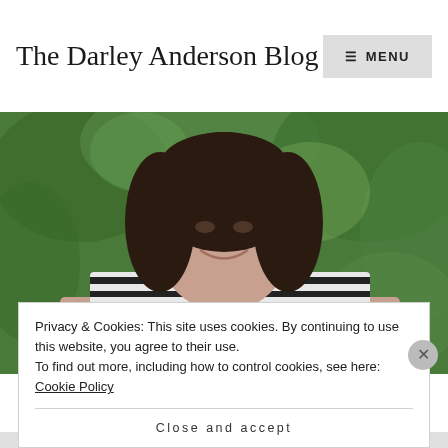The Darley Anderson Blog
[Figure (photo): A smiling woman with dark hair wearing a black and white striped top, sitting with her arms crossed on a table, with green foliage in the background.]
Privacy & Cookies: This site uses cookies. By continuing to use this website, you agree to their use.
To find out more, including how to control cookies, see here: Cookie Policy
Close and accept